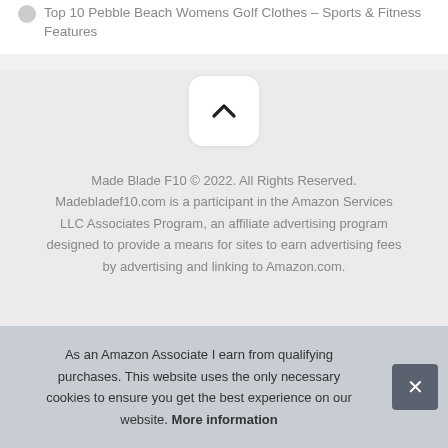Top 10 Pebble Beach Womens Golf Clothes – Sports & Fitness Features
[Figure (other): Up/back-to-top arrow button, white rounded square button with a chevron-up icon]
Made Blade F10 © 2022. All Rights Reserved. Madebladef10.com is a participant in the Amazon Services LLC Associates Program, an affiliate advertising program designed to provide a means for sites to earn advertising fees by advertising and linking to Amazon.com.
As an Amazon Associate I earn from qualifying purchases. This website uses the only necessary cookies to ensure you get the best experience on our website. More information